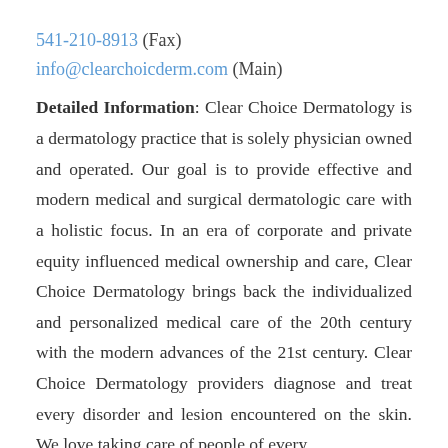541-210-8913 (Fax)
info@clearchoicderm.com (Main)
Detailed Information: Clear Choice Dermatology is a dermatology practice that is solely physician owned and operated. Our goal is to provide effective and modern medical and surgical dermatologic care with a holistic focus. In an era of corporate and private equity influenced medical ownership and care, Clear Choice Dermatology brings back the individualized and personalized medical care of the 20th century with the modern advances of the 21st century. Clear Choice Dermatology providers diagnose and treat every disorder and lesion encountered on the skin. We love taking care of people of every